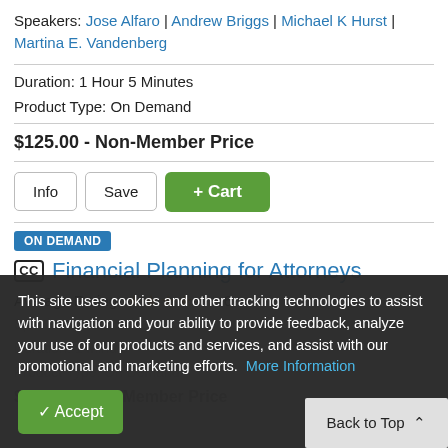Speakers: Jose Alfaro | Andrew Briggs | Michael K Hurst | Martina E. Vandenberg
Duration: 1 Hour 5 Minutes
Product Type: On Demand
$125.00 - Non-Member Price
[Figure (other): Info, Save, and + Cart buttons]
ON DEMAND
Financial Planning for Attorneys
Average Rating: 4.5 stars  6
This site uses cookies and other tracking technologies to assist with navigation and your ability to provide feedback, analyze your use of our products and services, and assist with our promotional and marketing efforts. More Information
Speakers: Kemi Price
Duration: 1 Minute
Product Type: On Demand
$125.00 - Non-Member Price